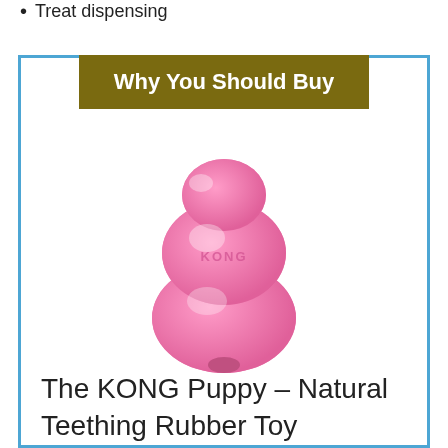Treat dispensing
Why You Should Buy
[Figure (photo): Pink KONG Puppy rubber toy with three lobed stackable shape and KONG text embossed on the middle lobe]
The KONG Puppy – Natural Teething Rubber Toy